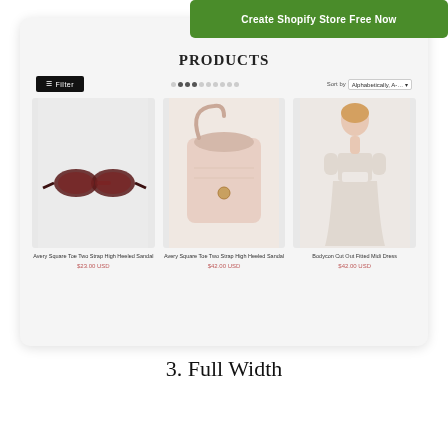[Figure (screenshot): Screenshot of a Shopify store product listing page showing three products: sunglasses, a pink handbag, and a bodycon dress, with a green 'Create Shopify Store Free Now' banner overlay at the top right.]
3. Full Width
[Figure (screenshot): Bottom portion of another Shopify store screenshot showing PRODUCTS header with a green 'Top' button overlay at top right.]